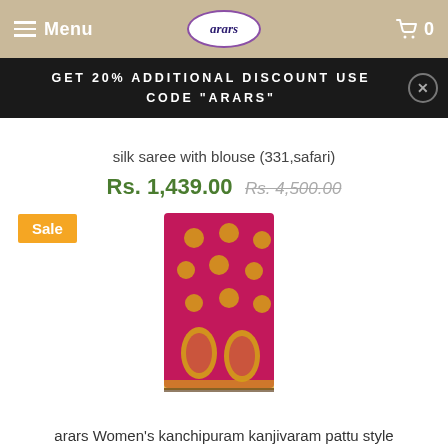Menu | arars | 0
GET 20% ADDITIONAL DISCOUNT USE CODE "ARARS"
silk saree with blouse (331,safari)
Rs. 1,439.00 Rs. 4,500.00
Sale
[Figure (photo): Pink/magenta silk saree folded showing gold polka dot pattern and two large gold leaf/mango motifs near the bottom border]
arars Women's kanchipuram kanjivaram pattu style